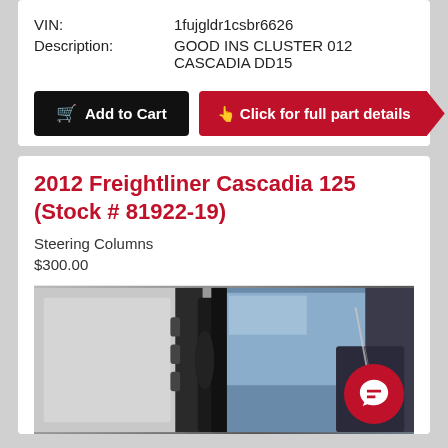| VIN: | 1fujgldr1csbr6626 |
| Description: | GOOD INS CLUSTER 012 CASCADIA DD15 |
Add to Cart
Click for full part details
2012 Freightliner Cascadia 125 (Stock # 81922-19)
Steering Columns
$300.00
[Figure (photo): Photo of a steering column from a 2012 Freightliner Cascadia 125 truck, showing interior cabin components with a chat bubble icon overlay in the bottom right.]